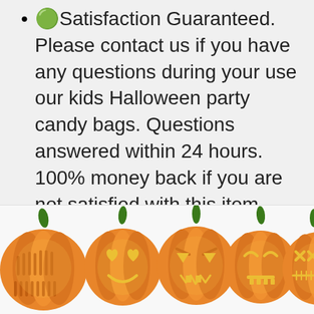✓Satisfaction Guaranteed. Please contact us if you have any questions during your use our kids Halloween party candy bags. Questions answered within 24 hours. 100% money back if you are not satisfied with this item.
$15.99 ✓Prime
[Figure (other): Buy on Amazon button with Amazon logo]
[Figure (illustration): Row of five carved Halloween jack-o-lantern pumpkins with different facial expressions, each with a green stem, on a white background. Partial view of candy wrappers visible.]